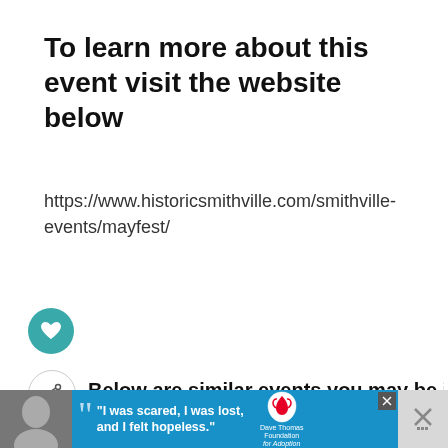To learn more about this event visit the website below
https://www.historicsmithville.com/smithville-events/mayfest/
[Figure (other): Teal circular heart/like button icon]
[Figure (other): Share button icon (circle with share symbol)]
Below are similar events you may be interested in
WHAT'S NEXT →
Mayfest at Historic...
Dog Shows in Egg Harbor Township at Tony Canale Park
August 20 @ 11:00 am - 12:00 pm EDT
[Figure (photo): Advertisement banner: person with quote 'I was scared, I was lost, and I felt hopeless.' with Dave Thomas Foundation for Adoption logo]